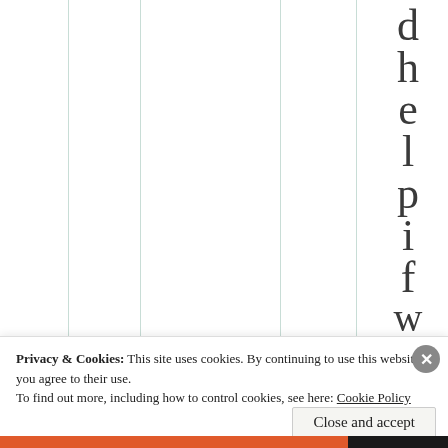[Figure (other): A table or chart with vertical column grid lines and a vertically-stacked letter display reading 'dhelpifwolf' on the right side]
Privacy & Cookies: This site uses cookies. By continuing to use this website, you agree to their use.
To find out more, including how to control cookies, see here: Cookie Policy